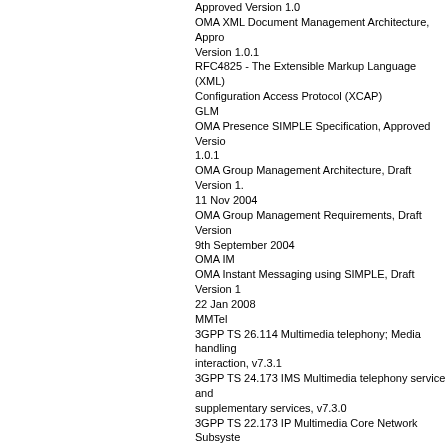Approved Version 1.0
OMA XML Document Management Architecture, Approved Version 1.0.1
RFC4825 - The Extensible Markup Language (XML) Configuration Access Protocol (XCAP)
GLM
OMA Presence SIMPLE Specification, Approved Version 1.0.1
OMA Group Management Architecture, Draft Version 1.… 11 Nov 2004
OMA Group Management Requirements, Draft Version … 9th September 2004
OMA IM
OMA Instant Messaging using SIMPLE, Draft Version 1… 22 Jan 2008
MMTel
3GPP TS 26.114 Multimedia telephony; Media handling interaction, v7.3.1
3GPP TS 24.173 IMS Multimedia telephony service and supplementary services, v7.3.0
3GPP TS 22.173 IP Multimedia Core Network Subsystem (IMS) Multimedia Telephony Service and supplementary services, v7.4.0
3GPP TS 24.229 Internet Protocol (IP) multimedia call control protocol based on Session Initiation Protocol (S… and Session Description Protocol (SDP), v7.10.0
3GPP TS 24.247 Messaging service using the IP Multimedia (IM) Core Network (CN) subsystem, v7.3.0
3GPP TS 22.228, Service requirements for the Internet Protocol (IP) multimedia core network subsystem (IMS), v7.6.0
CSI
3GPP TS 23.279, Combining Circuit Switched (CS) and Multimedia Subsystem (IMS) services; v7.7.0
PoC
OMA Push to Talk over Cellular Requirements, Version …
OMA Push to talk Over Cellular Control Plane, Candidate Version 1.0